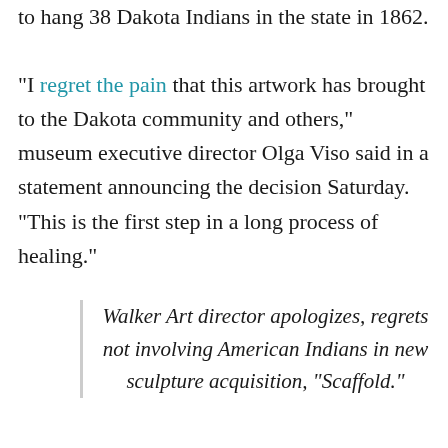to hang 38 Dakota Indians in the state in 1862.
“I regret the pain that this artwork has brought to the Dakota community and others,” museum executive director Olga Viso said in a statement announcing the decision Saturday. “This is the first step in a long process of healing.”
Walker Art director apologizes, regrets not involving American Indians in new sculpture acquisition, "Scaffold."